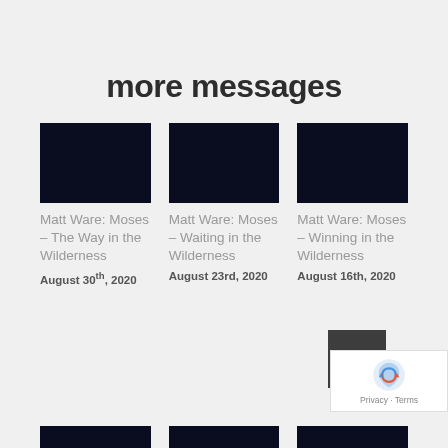more messages
[Figure (photo): Dark navy thumbnail image for first card]
Matt Ware: Moses – The Way in the Wilderness
August 30th, 2020
[Figure (photo): Dark navy thumbnail image for second card]
Matt Ware: Moses – Waiting in the Wilderness
August 23rd, 2020
[Figure (photo): Dark navy thumbnail image for third card]
Matt Ware: Moses – Winning in the Wilderness
August 16th, 2020